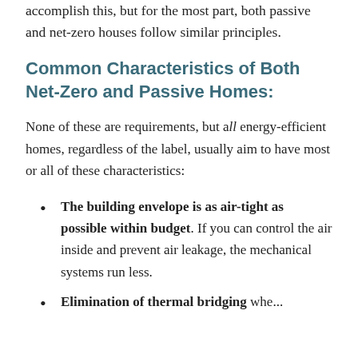accomplish this, but for the most part, both passive and net-zero houses follow similar principles.
Common Characteristics of Both Net-Zero and Passive Homes:
None of these are requirements, but all energy-efficient homes, regardless of the label, usually aim to have most or all of these characteristics:
The building envelope is as air-tight as possible within budget. If you can control the air inside and prevent air leakage, the mechanical systems run less.
Elimination of thermal bridging whe...